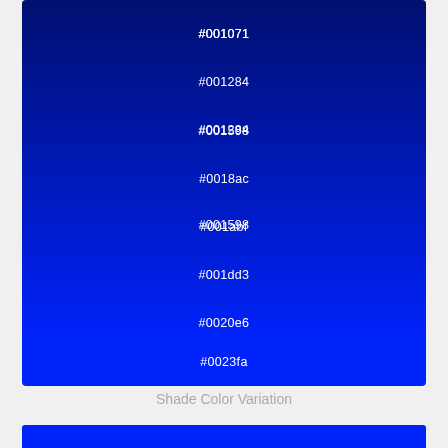[Figure (infographic): Vertical color swatch strip showing a gradient from dark navy blue (#001071) at the top to bright blue (#0023fa) at the bottom, with 8 labeled color stops displayed as hex codes centered on each band.]
Shade Color Variation